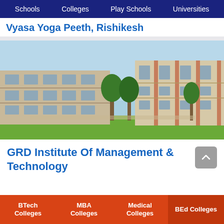Schools  Colleges  Play Schools  Universities
Vyasa Yoga Peeth, Rishikesh
[Figure (photo): Photograph of a multi-storey college building complex with green trees in the foreground and a lawn, under a clear blue sky.]
GRD Institute Of Management & Technology
BTech Colleges  MBA Colleges  Medical Colleges  BEd Colleges